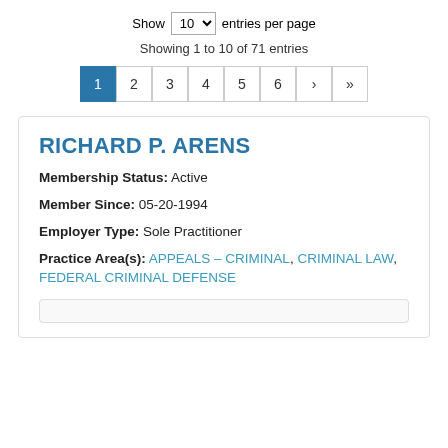Show 10 entries per page
Showing 1 to 10 of 71 entries
1 2 3 4 5 6 > »
RICHARD P. ARENS
Membership Status: Active
Member Since: 05-20-1994
Employer Type: Sole Practitioner
Practice Area(s): APPEALS – CRIMINAL, CRIMINAL LAW, FEDERAL CRIMINAL DEFENSE